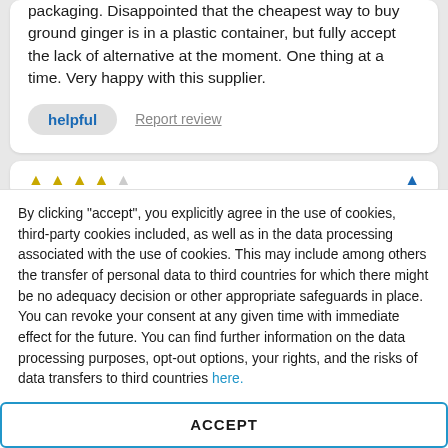packaging. Disappointed that the cheapest way to buy ground ginger is in a plastic container, but fully accept the lack of alternative at the moment. One thing at a time. Very happy with this supplier.
helpful   Report review
[Figure (other): Star rating row showing 4 gold stars and 1 gray star, with a flag/report icon on the right]
By clicking "accept", you explicitly agree in the use of cookies, third-party cookies included, as well as in the data processing associated with the use of cookies. This may include among others the transfer of personal data to third countries for which there might be no adequacy decision or other appropriate safeguards in place. You can revoke your consent at any given time with immediate effect for the future. You can find further information on the data processing purposes, opt-out options, your rights, and the risks of data transfers to third countries here.
ACCEPT